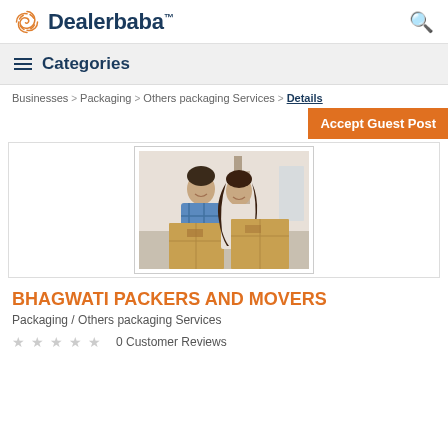Dealerbaba™
≡ Categories
Businesses > Packaging > Others packaging Services > Details
Accept Guest Post
[Figure (photo): A smiling couple holding cardboard moving boxes]
BHAGWATI PACKERS AND MOVERS
Packaging / Others packaging Services
0 Customer Reviews